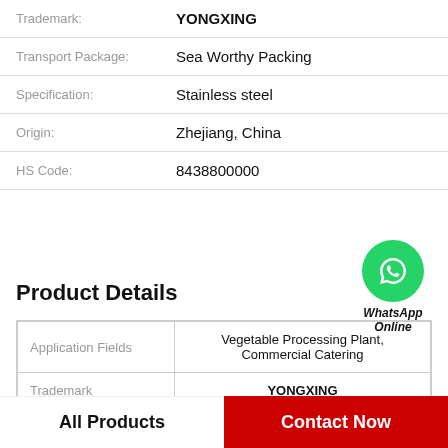| Trademark: | YONGXING |
| Transport Package: | Sea Worthy Packing |
| Specification: | Stainless steel |
| Origin: | Zhejiang, China |
| HS Code: | 8438800000 |
Product Details
[Figure (logo): WhatsApp Online icon — green circle with phone handset, labeled WhatsApp Online]
| Application Fields | Vegetable Processing Plant, Commercial Catering |
| --- | --- |
| Trademark | YONGXING |
| Transport Package | Sea Worthy Packing |
All Products | Contact Now